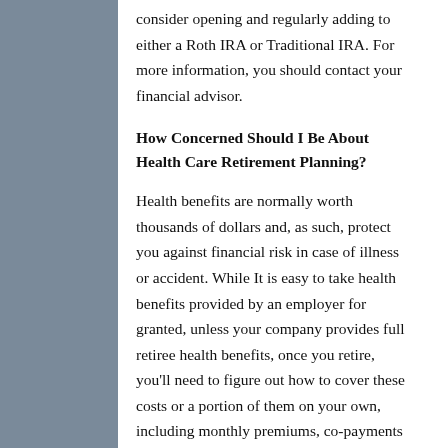consider opening and regularly adding to either a Roth IRA or Traditional IRA. For more information, you should contact your financial advisor.
How Concerned Should I Be About Health Care Retirement Planning?
Health benefits are normally worth thousands of dollars and, as such, protect you against financial risk in case of illness or accident. While It is easy to take health benefits provided by an employer for granted, unless your company provides full retiree health benefits, once you retire, you'll need to figure out how to cover these costs or a portion of them on your own, including monthly premiums, co-payments and other out of pocket health expenses in your retirement budget. If you plan to retire before age 65, you should